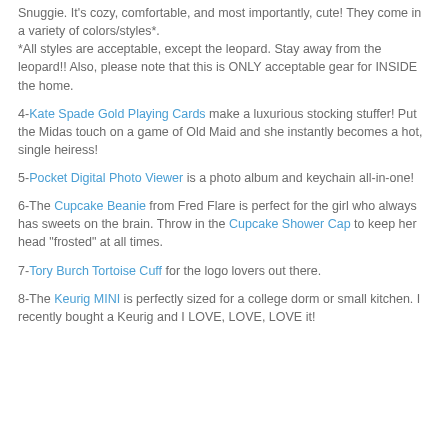Snuggie. It's cozy, comfortable, and most importantly, cute! They come in a variety of colors/styles*. *All styles are acceptable, except the leopard. Stay away from the leopard!! Also, please note that this is ONLY acceptable gear for INSIDE the home.
4-Kate Spade Gold Playing Cards make a luxurious stocking stuffer! Put the Midas touch on a game of Old Maid and she instantly becomes a hot, single heiress!
5-Pocket Digital Photo Viewer is a photo album and keychain all-in-one!
6-The Cupcake Beanie from Fred Flare is perfect for the girl who always has sweets on the brain. Throw in the Cupcake Shower Cap to keep her head "frosted" at all times.
7-Tory Burch Tortoise Cuff for the logo lovers out there.
8-The Keurig MINI is perfectly sized for a college dorm or small kitchen. I recently bought a Keurig and I LOVE, LOVE, LOVE it!